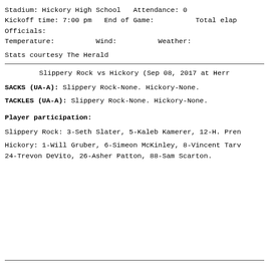Stadium: Hickory High School   Attendance: 0
Kickoff time: 7:00 pm   End of Game:          Total elap
Officials:
Temperature:          Wind:          Weather:
Stats courtesy The Herald
Slippery Rock vs Hickory (Sep 08, 2017 at Herr
SACKS (UA-A): Slippery Rock-None. Hickory-None.
TACKLES (UA-A): Slippery Rock-None. Hickory-None.
Player participation:
Slippery Rock: 3-Seth Slater, 5-Kaleb Kamerer, 12-H. Pren
Hickory: 1-Will Gruber, 6-Simeon McKinley, 8-Vincent Tarv
24-Trevon DeVito, 26-Asher Patton, 88-Sam Scarton.